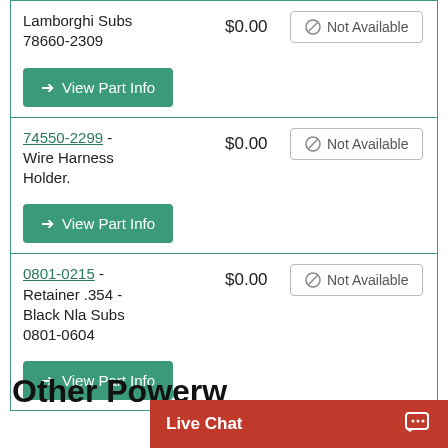Lamborghi Subs 78660-2309 — $0.00 — Not Available — View Part Info
74550-2299 - Wire Harness Holder. — $0.00 — Not Available — View Part Info
0801-0215 - Retainer .354 - Black Nla Subs 0801-0604 — $0.00 — Not Available — View Part Info
Other Powerw